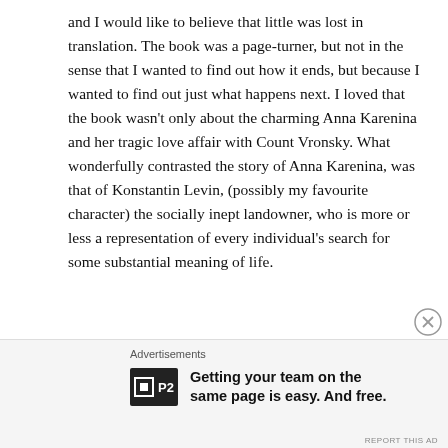and I would like to believe that little was lost in translation. The book was a page-turner, but not in the sense that I wanted to find out how it ends, but because I wanted to find out just what happens next. I loved that the book wasn't only about the charming Anna Karenina and her tragic love affair with Count Vronsky. What wonderfully contrasted the story of Anna Karenina, was that of Konstantin Levin, (possibly my favourite character) the socially inept landowner, who is more or less a representation of every individual's search for some substantial meaning of life.
[Figure (other): Advertisement banner at bottom of page. Shows 'Advertisements' label, P2 logo (white square icon with nested box on black background), and bold text 'Getting your team on the same page is easy. And free.' A close/dismiss button (circled X) appears to the right.]